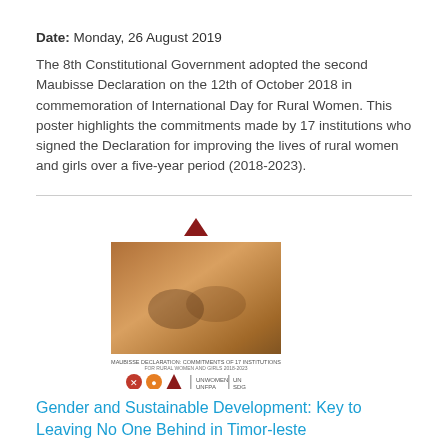Date: Monday, 26 August 2019
The 8th Constitutional Government adopted the second Maubisse Declaration on the 12th of October 2018 in commemoration of International Day for Rural Women. This poster highlights the commitments made by 17 institutions who signed the Declaration for improving the lives of rural women and girls over a five-year period (2018-2023).
[Figure (photo): Publication cover image with a photo of hands and icons below, related to gender and sustainable development report]
Gender and Sustainable Development: Key to Leaving No One Behind in Timor-leste
Date: Wednesday, 1 August 2018
Following the adoption of the Sustainable Development Goals (SDGs) by the Timor-Leste Council of Ministers in 2015 , the Government created an SDG Working Group to promote the localisation and rollout of the SDGs at the national level. Gender